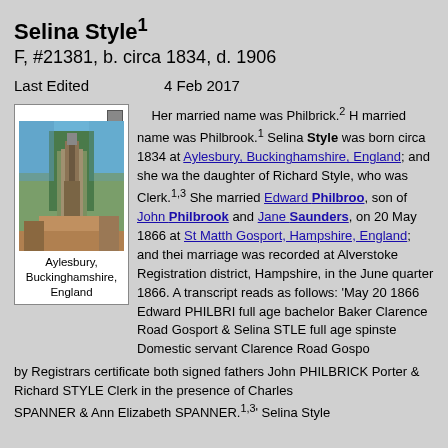Selina Style¹
F, #21381, b. circa 1834, d. 1906
Last Edited   4 Feb 2017
[Figure (photo): Photo of Aylesbury, Buckinghamshire, England town center with clock tower]
Aylesbury, Buckinghamshire, England
Her married name was Philbrick.² Her married name was Philbrook.¹ Selina Style was born circa 1834 at Aylesbury, Buckinghamshire, England; and she was the daughter of Richard Style, who was Clerk.¹˒³ She married Edward Philbrook, son of John Philbrook and Jane Saunders, on 20 May 1866 at St Matthew, Gosport, Hampshire, England; and their marriage was recorded at Alverstoke Registration district, Hampshire, in the June quarter 1866. A transcript reads as follows: 'May 20 1866 Edward PHILBRI full age bachelor Baker Clarence Road Gosport & Selina STLE full age spinster Domestic servant Clarence Road Gospo by Registrars certificate both signed fathers John PHILBRICK Porter & Richard STYLE Clerk in the presence of Charles SPANNER & Ann Elizabeth SPANNER.¹˒³' Selina Style